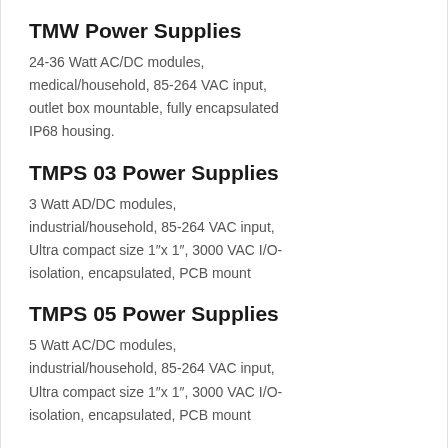TMW Power Supplies
24-36 Watt AC/DC modules, medical/household, 85-264 VAC input, outlet box mountable, fully encapsulated IP68 housing.
TMPS 03 Power Supplies
3 Watt AD/DC modules, industrial/household, 85-264 VAC input, Ultra compact size 1″x 1″, 3000 VAC I/O-isolation, encapsulated, PCB mount
TMPS 05 Power Supplies
5 Watt AC/DC modules, industrial/household, 85-264 VAC input, Ultra compact size 1″x 1″, 3000 VAC I/O-isolation, encapsulated, PCB mount
TMPW 5 Power Supplies